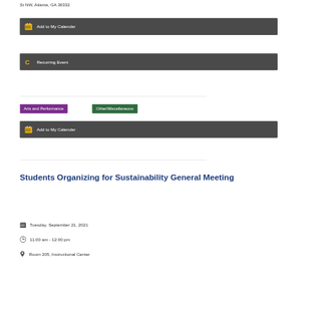St NW, Atlanta, GA 30332
Add to My Calendar
Recurring Event
Arts and Performance
Other/Miscellaneous
Students Organizing for Sustainability General Meeting
Tuesday, September 21, 2021
11:00 am - 12:00 pm
Room 205, Instructional Center
Add to My Calendar